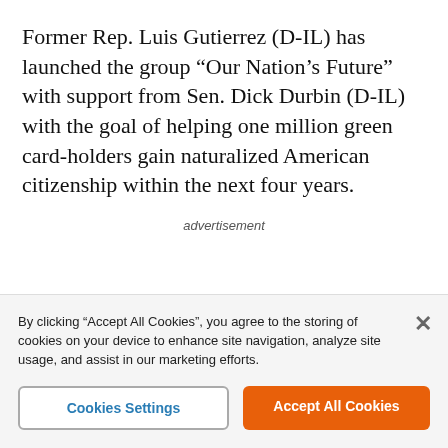Former Rep. Luis Gutierrez (D-IL) has launched the group “Our Nation’s Future” with support from Sen. Dick Durbin (D-IL) with the goal of helping one million green card-holders gain naturalized American citizenship within the next four years.
advertisement
By clicking “Accept All Cookies”, you agree to the storing of cookies on your device to enhance site navigation, analyze site usage, and assist in our marketing efforts.